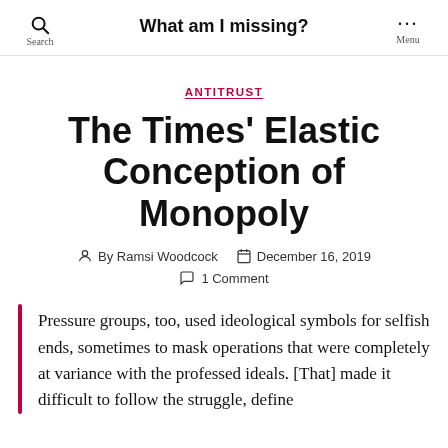What am I missing?
ANTITRUST
The Times' Elastic Conception of Monopoly
By Ramsi Woodcock   December 16, 2019   1 Comment
Pressure groups, too, used ideological symbols for selfish ends, sometimes to mask operations that were completely at variance with the professed ideals. [That] made it difficult to follow the struggle, define